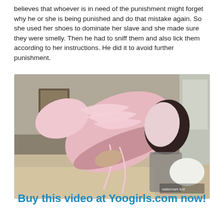believes that whoever is in need of the punishment might forget why he or she is being punished and do that mistake again. So she used her shoes to dominate her slave and she made sure they were smelly. Then he had to sniff them and also lick them according to her instructions. He did it to avoid further punishment.
[Figure (photo): A person holding up a pink sneaker close to the camera from a low angle, sitting on a beige surface, wearing fishnet stockings and a white sock on the other foot. A framed picture is visible on the wall in the background.]
Buy this video at Yoogirls.com now!